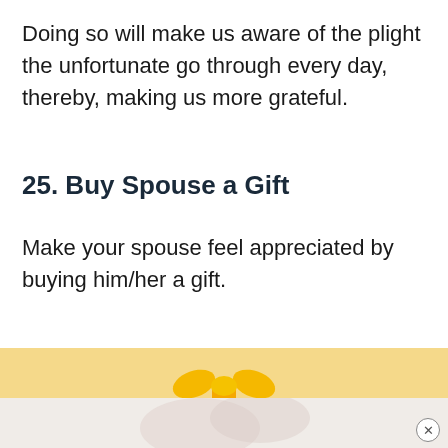Doing so will make us aware of the plight the unfortunate go through every day, thereby, making us more grateful.
25. Buy Spouse a Gift
Make your spouse feel appreciated by buying him/her a gift.
[Figure (illustration): A gift box with blue body and golden yellow bow/ribbon, held by hands, on a light yellow background.]